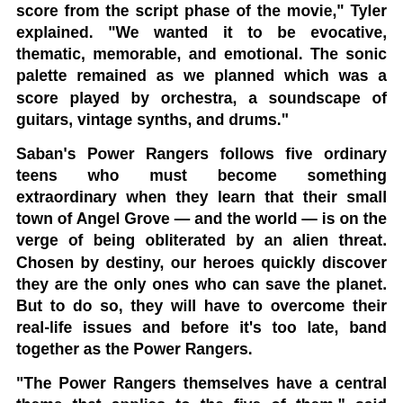score from the script phase of the movie," Tyler explained. "We wanted it to be evocative, thematic, memorable, and emotional. The sonic palette remained as we planned which was a score played by orchestra, a soundscape of guitars, vintage synths, and drums."
Saban's Power Rangers follows five ordinary teens who must become something extraordinary when they learn that their small town of Angel Grove — and the world — is on the verge of being obliterated by an alien threat. Chosen by destiny, our heroes quickly discover they are the only ones who can save the planet. But to do so, they will have to overcome their real-life issues and before it's too late, band together as the Power Rangers.
"The Power Rangers themselves have a central theme that applies to the five of them," said composer Brian Tyler. "I would describe the music as aspirational in that it always reaches for something just out of reach emotionally. It is not blatantly heroic, it is more of a theme of the heart." Tyler added, "I had watched the series back in the day and still enjoy them. This was a